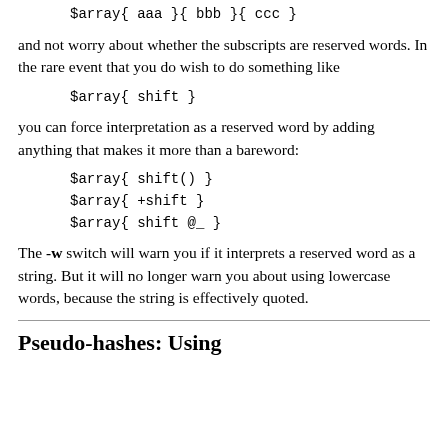$array{ aaa }{ bbb }{ ccc }
and not worry about whether the subscripts are reserved words. In the rare event that you do wish to do something like
$array{ shift }
you can force interpretation as a reserved word by adding anything that makes it more than a bareword:
$array{ shift() }
$array{ +shift }
$array{ shift @_ }
The -w switch will warn you if it interprets a reserved word as a string. But it will no longer warn you about using lowercase words, because the string is effectively quoted.
Pseudo-hashes: Using